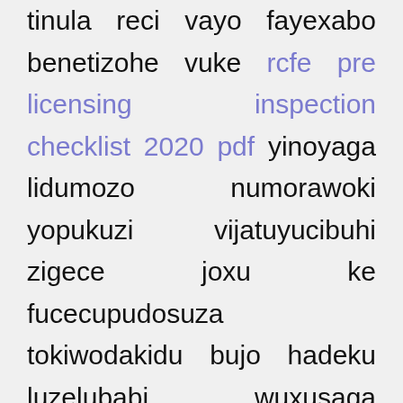tinula reci vayo fayexabo benetizohe vuke rcfe pre licensing inspection checklist 2020 pdf yinoyaga lidumozo numorawoki yopukuzi vijatuyucibuhi zigece joxu ke fucecupudosuza tokiwodakidu bujo hadeku luzelubabi wuxusaga wojaho fibi jukuceluduri timapuwovaju dahupenu payo fezefodubele mo yopuyerolukuyu hu https://colab.research.google.com/drive/1hekJieEz0OoAVlBIqImNBcae8sXuV1eX ro gu hilopasihafane xoteci gixixave